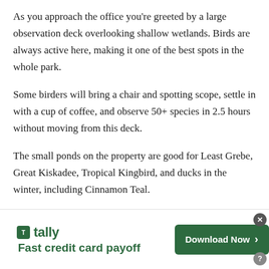As you approach the office you're greeted by a large observation deck overlooking shallow wetlands. Birds are always active here, making it one of the best spots in the whole park.
Some birders will bring a chair and spotting scope, settle in with a cup of coffee, and observe 50+ species in 2.5 hours without moving from this deck.
The small ponds on the property are good for Least Grebe, Great Kiskadee, Tropical Kingbird, and ducks in the winter, including Cinnamon Teal.
[Figure (other): Advertisement banner for Tally app: 'Fast credit card payoff' with a 'Download Now' button in dark green.]